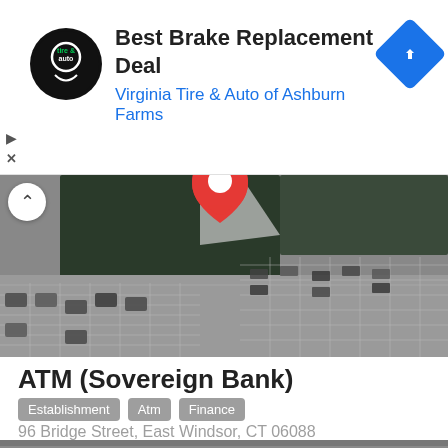[Figure (infographic): Advertisement banner: Best Brake Replacement Deal - Virginia Tire & Auto of Ashburn Farms with logo and navigation icon]
[Figure (map): Aerial satellite view showing parking lot with red map pin marker for ATM location]
ATM (Sovereign Bank)
Establishment
Atm
Finance
96 Bridge Street, East Windsor, CT 06088
[Figure (map): Aerial satellite view showing partial view of another ATM location with red circle map pin marker]